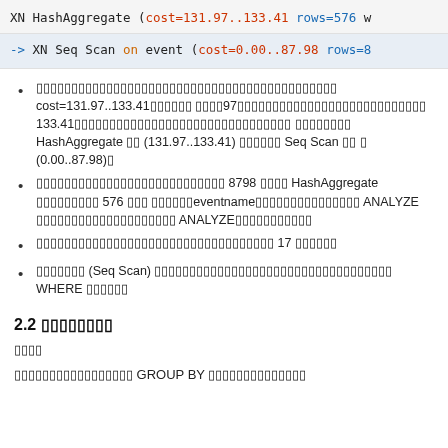XN HashAggregate (cost=131.97..133.41 rows=576 w
-> XN Seq Scan on event (cost=0.00..87.98 rows=8
xxxxxxxxxxxxxxxxxxxxxxxxxxxxxxxxxxxxxxxxxxxxxxx cost=131.97..133.41xxxxxx xxxx97xxxxxxxxxxxxxxxxxxxxxxxxxxxxxxxxx 133.41xxxxxxxxxxxxxxxxxxxxxxxxxxxxxxxxxxxxxxxxxx xxxxxxxx HashAggregate xx (131.97..133.41) xxxxxx Seq Scan xx x (0.00..87.98)x
xxxxxxxxxxxxxxxxxxxxxxxxxxx 8798 xxxx HashAggregate xxxxxxxxx 576 xxx xxxxxxeventnamexxxxxxxxxxxxxxxxxxxxxxx ANALYZE xxxxxxxxxxxxxxxxxxxx ANALYZExxxxxxxxxx
xxxxxxxxxxxxxxxxxxxxxxxxxxxxxxxxxx 17 xxxxxx
xxxxxxx (Seq Scan) xxxxxxxxxxxxxxxxxxxxxxxxxxxxxxxxxx WHERE xxxxxx
2.2 xxxxxxxx
xxxx
xxxxxxxxxxxxxxxxx GROUP BY xxxxxxxxxxxxxx